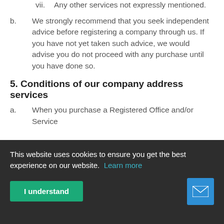vii. Any other services not expressly mentioned.
b. We strongly recommend that you seek independent advice before registering a company through us. If you have not yet taken such advice, we would advise you do not proceed with any purchase until you have done so.
5. Conditions of our company address services
a. When you purchase a Registered Office and/or Service
This website uses cookies to ensure you get the best experience on our website. Learn more
I understand